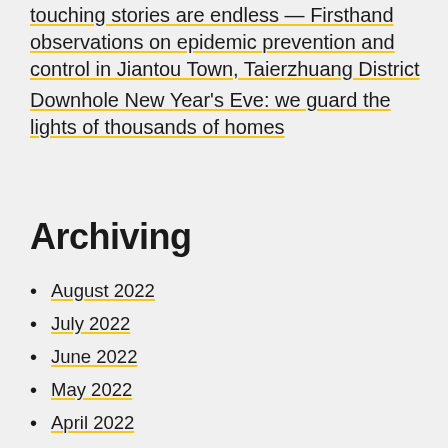touching stories are endless — Firsthand observations on epidemic prevention and control in Jiantou Town, Taierzhuang District
Downhole New Year's Eve: we guard the lights of thousands of homes
Archiving
August 2022
July 2022
June 2022
May 2022
April 2022